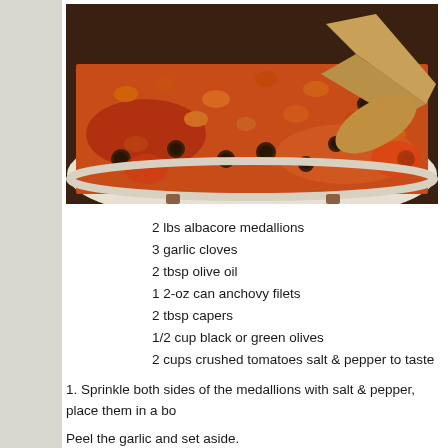[Figure (photo): A pan with a tomato-based sauce containing olives and crumbled ingredients being stirred with a wooden spoon]
2 lbs albacore medallions
3 garlic cloves
2 tbsp olive oil
1 2-oz can anchovy filets
2 tbsp capers
1/2 cup black or green olives
2 cups crushed tomatoes salt & pepper to taste
1. Sprinkle both sides of the medallions with salt & pepper, place them in a bo
Peel the garlic and set aside.